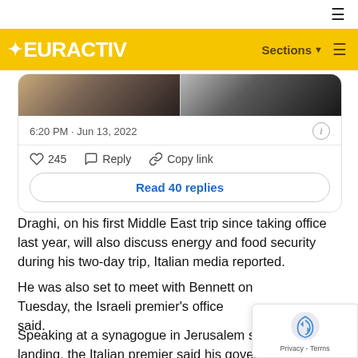EURACTIV — Sections
[Figure (screenshot): Embedded tweet screenshot showing two photos at top, timestamp '6:20 PM · Jun 13, 2022', info icon, heart icon with 245 likes, Reply button, Copy link button, and 'Read 40 replies' button]
Draghi, on his first Middle East trip since taking office last year, will also discuss energy and food security during his two-day trip, Italian media reported.
He was also set to meet with Bennett on Tuesday, the Israeli premier's office said.
Speaking at a synagogue in Jerusalem shortly after landing, the Italian premier said his government was